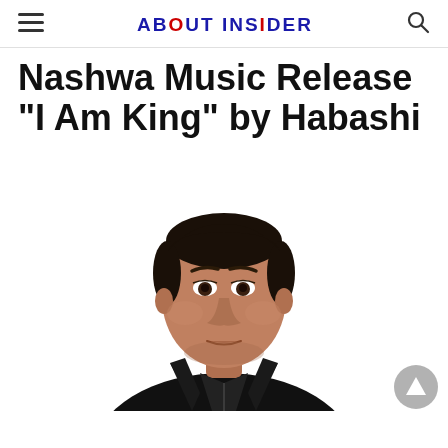ABOUT INSIDER
Nashwa Music Release "I Am King" by Habashi
[Figure (photo): Professional headshot of Habashi, a man wearing a black leather jacket against a white background, looking directly at the camera with a serious expression.]